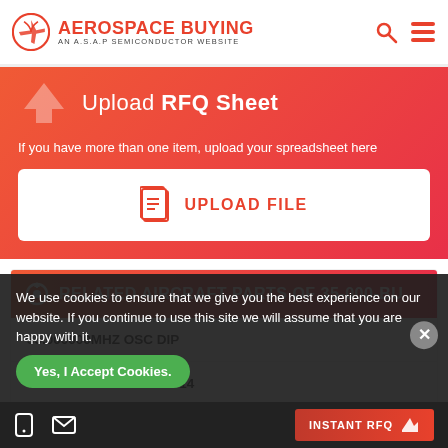AEROSPACE BUYING — AN A.S.A.P SEMICONDUCTOR WEBSITE
Upload RFQ Sheet
If you have more than one item, upload your spreadsheet here
UPLOAD FILE
RELATED AIRCRAFT PARTS OF 35-000-BU
35.000000MHZ OSC DIP
35.000000MHZ OSC DIP14
35-00-675
We use cookies to ensure that we give you the best experience on our website. If you continue to use this site we will assume that you are happy with it.
Yes, I Accept Cookies.
INSTANT RFQ